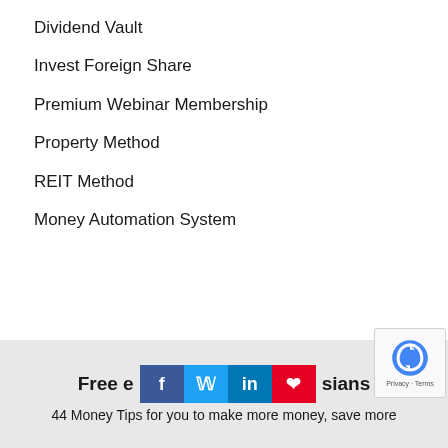Dividend Vault
Invest Foreign Share
Premium Webinar Membership
Property Method
REIT Method
Money Automation System
Free e[social icons]sians
44 Money Tips for you to make more money, save more